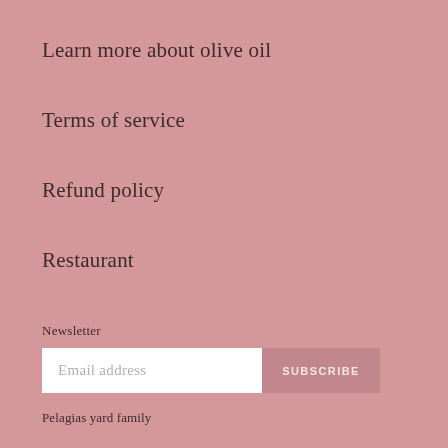Learn more about olive oil
Terms of service
Refund policy
Restaurant
Newsletter
Email address
SUBSCRIBE
Pelagias yard family